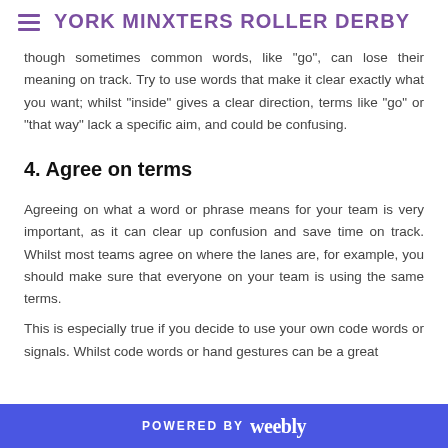YORK MINXTERS ROLLER DERBY
though sometimes common words, like “go”, can lose their meaning on track. Try to use words that make it clear exactly what you want; whilst “inside” gives a clear direction, terms like “go” or “that way” lack a specific aim, and could be confusing.
4. Agree on terms
Agreeing on what a word or phrase means for your team is very important, as it can clear up confusion and save time on track. Whilst most teams agree on where the lanes are, for example, you should make sure that everyone on your team is using the same terms.
This is especially true if you decide to use your own code words or signals. Whilst code words or hand gestures can be a great
POWERED BY weebly